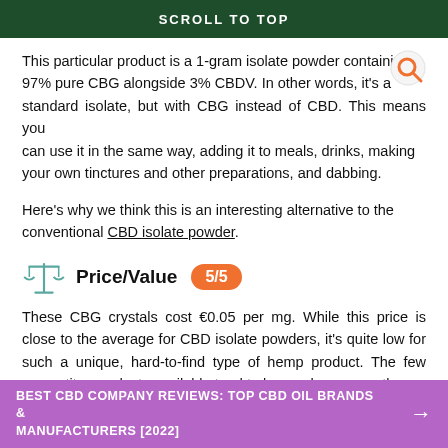SCROLL TO TOP
This particular product is a 1-gram isolate powder containing 97% pure CBG alongside 3% CBDV. In other words, it's a standard isolate, but with CBG instead of CBD. This means you can use it in the same way, adding it to meals, drinks, making your own tinctures and other preparations, and dabbing.
Here's why we think this is an interesting alternative to the conventional CBD isolate powder.
Price/Value  5/5
These CBG crystals cost €0.05 per mg. While this price is close to the average for CBD isolate powders, it's quite low for such a unique, hard-to-find type of hemp product. The few competitor products available tend to be much more costly.
BEST CBD COMPANY REVIEWS: TOP CBD OIL BRANDS & MANUFACTURERS [2022]